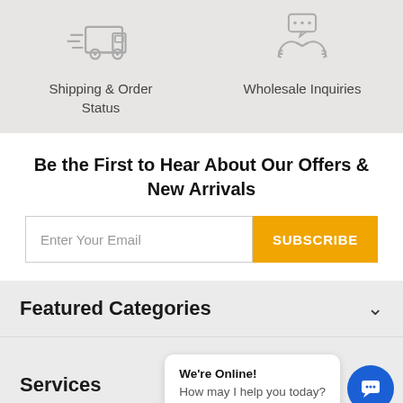[Figure (illustration): Shipping truck icon with speed lines]
Shipping & Order Status
[Figure (illustration): Handshake with speech bubble icon for wholesale inquiries]
Wholesale Inquiries
Be the First to Hear About Our Offers & New Arrivals
Enter Your Email
SUBSCRIBE
Featured Categories
Services
We're Online!
How may I help you today?